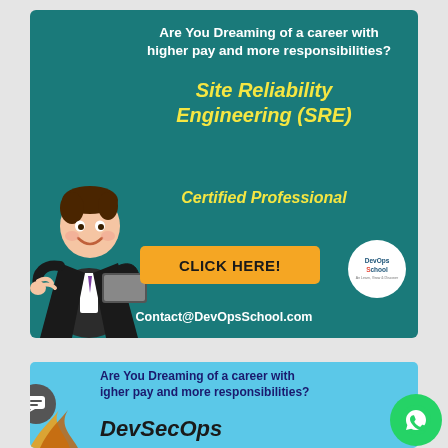[Figure (infographic): Teal/dark green advertisement banner for Site Reliability Engineering (SRE) Certified Professional course by DevOpsSchool. Contains a cartoon businessman figure, yellow text for the course name, an orange 'CLICK HERE!' button, DevOpsSchool logo circle, and contact email. Top white bold text reads 'Are You Dreaming of a career with higher pay and more responsibilities?']
[Figure (infographic): Light blue advertisement banner for DevSecOps course by DevOpsSchool. Contains text 'Are You Dreaming of a career with higher pay and more responsibilities?' in dark blue bold, and 'DevSecOps' in large black bold italic text. Partially visible at bottom of page.]